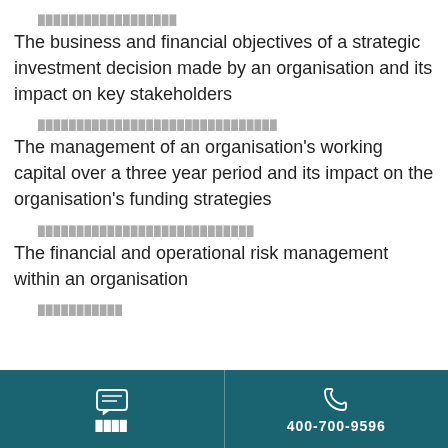██████████████████
The business and financial objectives of a strategic investment decision made by an organisation and its impact on key stakeholders
███████████████████████████████
The management of an organisation's working capital over a three year period and its impact on the organisation's funding strategies
████████████████████████████
The financial and operational risk management within an organisation
███████████
████  400-700-9596